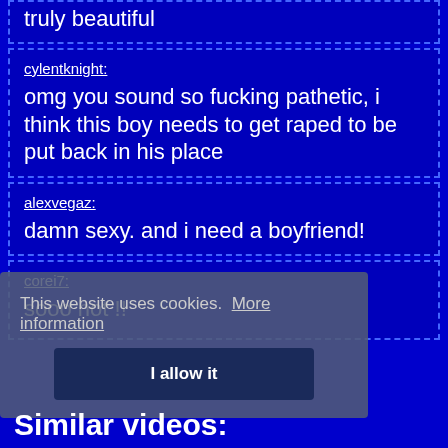truly beautiful
cylentknight: omg you sound so fucking pathetic, i think this boy needs to get raped to be put back in his place
alexvegaz: damn sexy. and i need a boyfriend!
corei7: sooo hot !!
This website uses cookies. More information
I allow it
Similar videos: